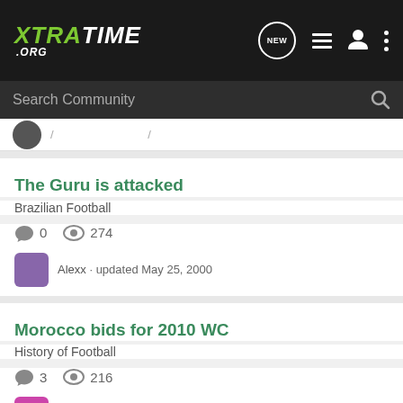XTRATIME .ORG
Search Community
The Guru is attacked
Brazilian Football
0 comments · 274 views · Alexx · updated May 25, 2000
Morocco bids for 2010 WC
History of Football
3 comments · 216 views · Gabemar · updated Dec 15, 2002